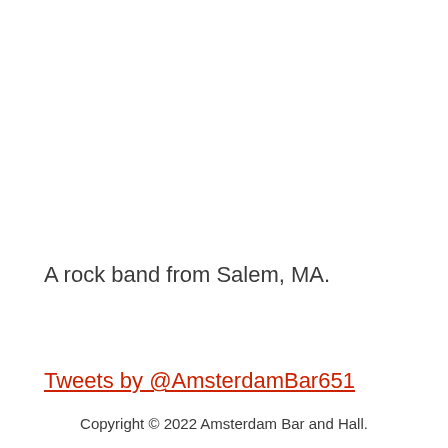A rock band from Salem, MA.
Tweets by @AmsterdamBar651
Copyright © 2022 Amsterdam Bar and Hall.